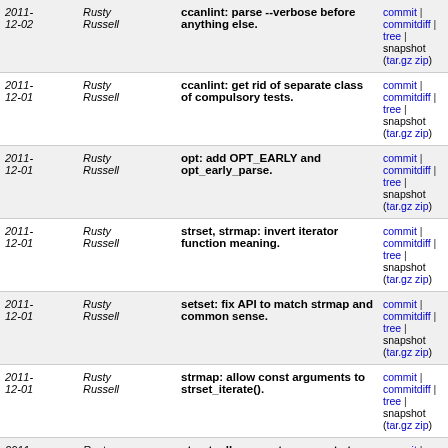| Date | Author | Message | Links |
| --- | --- | --- | --- |
| 2011-12-02 | Rusty Russell | ccanlint: parse --verbose before anything else. | commit | commitdiff | tree | snapshot (tar.gz zip) |
| 2011-12-01 | Rusty Russell | ccanlint: get rid of separate class of compulsory tests. | commit | commitdiff | tree | snapshot (tar.gz zip) |
| 2011-12-01 | Rusty Russell | opt: add OPT_EARLY and opt_early_parse. | commit | commitdiff | tree | snapshot (tar.gz zip) |
| 2011-12-01 | Rusty Russell | strset, strmap: invert iterator function meaning. | commit | commitdiff | tree | snapshot (tar.gz zip) |
| 2011-12-01 | Rusty Russell | setset: fix API to match strmap and common sense. | commit | commitdiff | tree | snapshot (tar.gz zip) |
| 2011-12-01 | Rusty Russell | strmap: allow const arguments to strset_iterate(). | commit | commitdiff | tree | snapshot (tar.gz zip) |
| 2011-12-01 | Rusty Russell | strset: allow const arguments to strset_iterate(). | commit | commitdiff | tree | snapshot (tar.gz zip) |
| 2011-12-01 | Rusty Russell | opt: fix up outdated comments in documentation. | commit | commitdiff | tree | snapshot (tar.gz zip) |
| 2011-12-01 | Rusty Russell | opt: get rid of last remnant of getopt. | commit | commitdiff | tree | snapshot (tar.gz zip) |